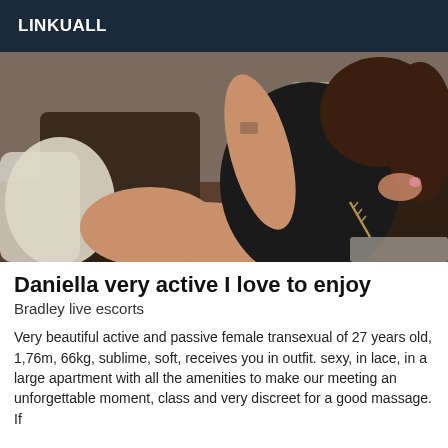LINKUALL
[Figure (photo): Young woman with dark hair wearing a black outfit, seated on a dark sofa/couch, photographed from the side in a room setting.]
Daniella very active I love to enjoy
Bradley live escorts
Very beautiful active and passive female transexual of 27 years old, 1,76m, 66kg, sublime, soft, receives you in outfit. sexy, in lace, in a large apartment with all the amenities to make our meeting an unforgettable moment, class and very discreet for a good massage. If